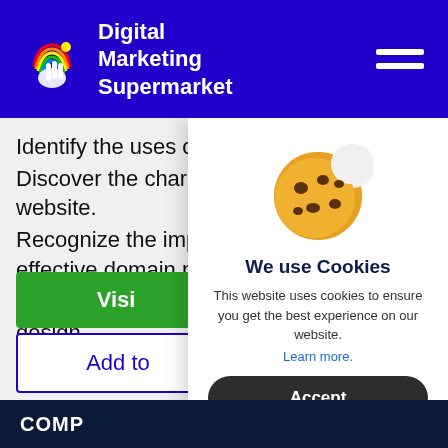Digital Marketing Supermarket
Identify the uses of a marketing funnel.
Discover the characteristics of an effective website.
Recognize the importance behind choosing an effective domain name.
Determine the importance of design.
Examine the fundamentals
[Figure (illustration): Cookie consent modal with cookie emoji icon, title 'We use Cookies', description text, Learn more link, and Accept button]
COMP